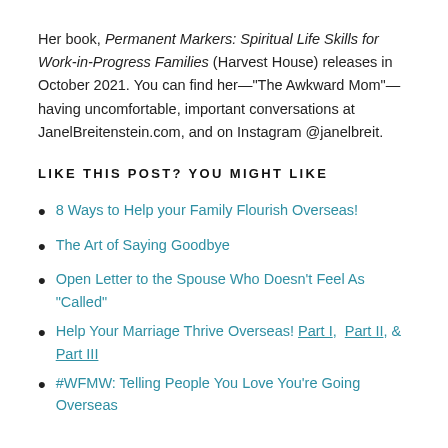Her book, Permanent Markers: Spiritual Life Skills for Work-in-Progress Families (Harvest House) releases in October 2021. You can find her—"The Awkward Mom"—having uncomfortable, important conversations at JanelBreitenstein.com, and on Instagram @janelbreit.
LIKE THIS POST? YOU MIGHT LIKE
8 Ways to Help your Family Flourish Overseas!
The Art of Saying Goodbye
Open Letter to the Spouse Who Doesn't Feel As "Called"
Help Your Marriage Thrive Overseas! Part I,  Part II, & Part III
#WFMW: Telling People You Love You're Going Overseas